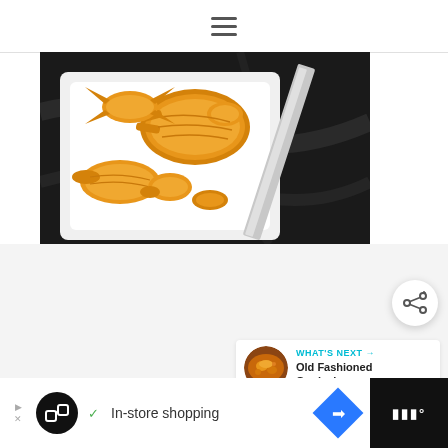hamburger menu icon
[Figure (photo): Star Wars shaped cheese crackers or pastries on a white square plate next to a metal knife on a dark marble surface]
[Figure (other): Share button (circular white button with share icon)]
[Figure (other): What's Next card showing 'Old Fashioned Goulash' with thumbnail]
[Figure (other): Advertisement bar at bottom: In-store shopping ad with logo and navigation icon]